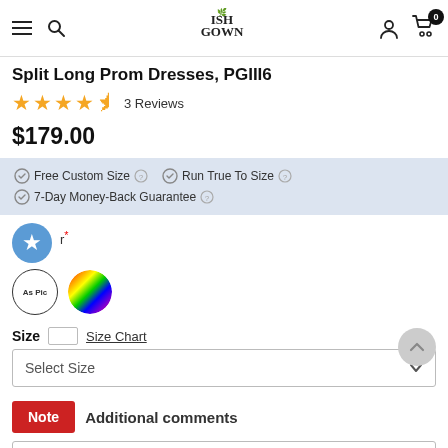ISH GOWN — navigation bar with hamburger, search, logo, user, cart
Split Long Prom Dresses, PGIII6
4.5 stars — 3 Reviews
$179.00
✓ Free Custom Size ? ✓ Run True To Size ? ✓ 7-Day Money-Back Guarantee ?
r*
Color options: As Pic, Rainbow
Size  [ruler icon]  Size Chart
Select Size
Note  Additional comments